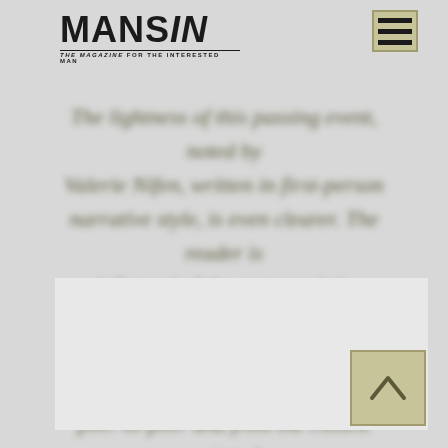[Figure (logo): MansIN magazine logo with tagline 'The Magazine For The Interested Man']
[Figure (other): Hamburger menu icon with three horizontal bars on olive/khaki background]
The lightness of this passing event, noted by Valerie Nifen, written in first-person narrative style, is even clearer. The reader is informed of the protagonist's thoughts, feelings, and most intimate experiences peer-to-peer and from the closest point of view.
[Figure (other): White/light grey content card placeholder area]
[Figure (other): Scroll-to-top button with house/chevron icon on olive/khaki background]